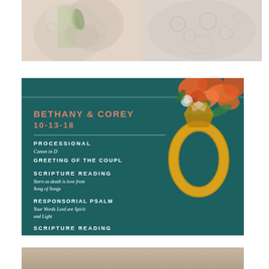[Figure (photo): Two side-by-side close-up photos of wedding dress lace fabric and floral details, with a soft cream and beige color palette. Left image shows lace with a green leaf visible; right image shows detailed lace embroidery.]
[Figure (photo): Wedding ceremony program card on dark teal background with ring and orange floral arrangement. Program shows: BETHANY & COREY, 10-13-18, PROCESSIONAL - Canon in D, GREETING OF THE COUPLE, SCRIPTURE READING - Stern as death is love from Song of Songs, RESPONSORIAL PSALM - Your Words Lord are Spirit and Light, SCRIPTURE READING]
[Figure (photo): Partial view of a photo at the bottom of the page, showing warm brown tones, likely another wedding detail shot.]